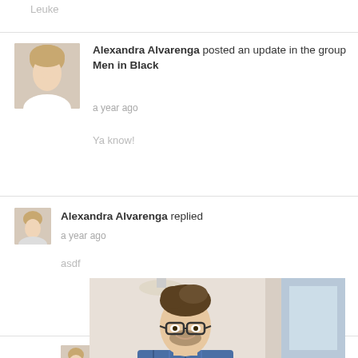Leuke
Alexandra Alvarenga posted an update in the group Men in Black
a year ago
Ya know!
Alexandra Alvarenga replied
a year ago
asdf
Alexandra Alvarenga joined the group Men in Black
2 years ago
[Figure (photo): Photo of a smiling man with glasses and styled hair, wearing a plaid shirt, in an office/cafe setting]